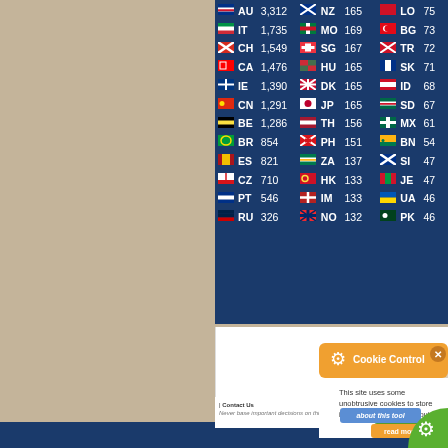| Flag | Code | Count | Flag | Code | Count | Flag | Code | Count |
| --- | --- | --- | --- | --- | --- | --- | --- | --- |
| AU | 3,312 | NZ | 165 | LO | 75 |
| IT | 1,735 | MO | 169 | BG | 73 |
| CH | 1,549 | SG | 167 | TR | 72 |
| CA | 1,476 | HU | 165 | SK | 71 |
| IE | 1,390 | DK | 165 | ID | 68 |
| CN | 1,291 | JP | 165 | SD | 67 |
| BE | 1,286 | TH | 156 | MX | 61 |
| BR | 854 | PH | 151 | BN | 54 |
| ES | 821 | ZA | 137 | SI | 47 |
| CZ | 710 | HK | 133 | JE | 47 |
| PT | 546 | IM | 133 | UA | 46 |
| RU | 326 | NO | 132 | PK | 46 |
[Figure (screenshot): Cookie Control popup overlay with orange header showing gear icon and 'Cookie Control' title, an X close button, body text 'This site uses some unobtrusive cookies to store information on your computer.', a green 'Allow Cookies' button, a blue 'about this tool' button, and an orange 'read more' button. Background shows Scottish Weather watermark circle.]
© 2022, http://www.isleofskyeweather.co.uk | Wea...
Never base important decisions on thi...